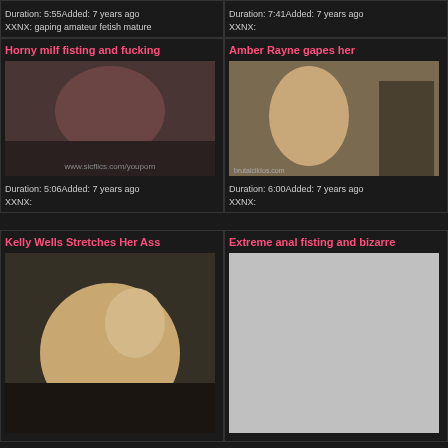Duration: 5:55Added: 7 years ago
XXNX: gaping amateur fetish mature
Duration: 7:41Added: 7 years ago
XXNX:
Horny milf fisting and fucking
[Figure (photo): Thumbnail image of video]
Duration: 5:06Added: 7 years ago
XXNX:
Amber Rayne gapes her
[Figure (photo): Thumbnail image from brutalcildos.com]
Duration: 6:00Added: 7 years ago
XXNX:
Kelly Wells Stretches Her Ass
[Figure (photo): Thumbnail image of video]
Extreme anal fisting and bizarre
[Figure (photo): Gray placeholder thumbnail]